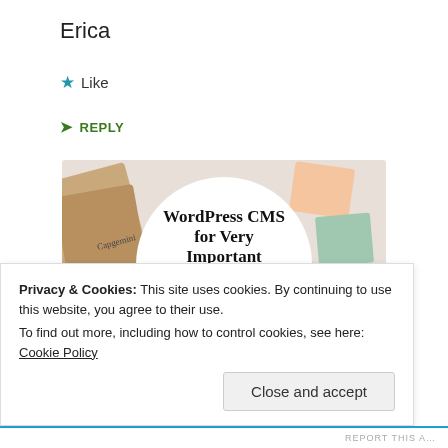Erica
★ Like
➤ REPLY
[Figure (illustration): WordPress VIP advertisement banner showing 'WordPress CMS for Very Important Content' with WPvip logo and 'Learn more →' button, surrounded by brand logos including Capgemini, Merck, Salesforce on a collage background.]
Privacy & Cookies: This site uses cookies. By continuing to use this website, you agree to their use.
To find out more, including how to control cookies, see here: Cookie Policy
Close and accept